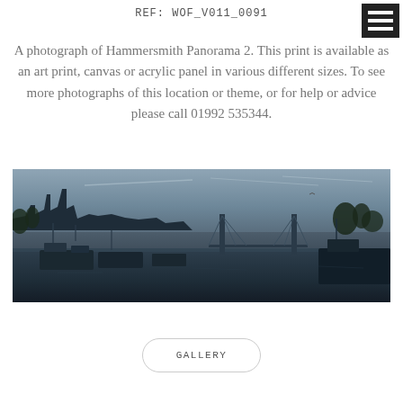REF: WOF_V011_0091
A photograph of Hammersmith Panorama 2. This print is available as an art print, canvas or acrylic panel in various different sizes. To see more photographs of this location or theme, or for help or advice please call 01992 535344.
[Figure (photo): A panoramic photograph of Hammersmith as seen from the Thames riverbank. The image shows the river Thames with moored boats and barges in the foreground, the Hammersmith Bridge suspension bridge in the mid-distance, and riverside buildings and the London skyline in the background under an overcast sky.]
GALLERY